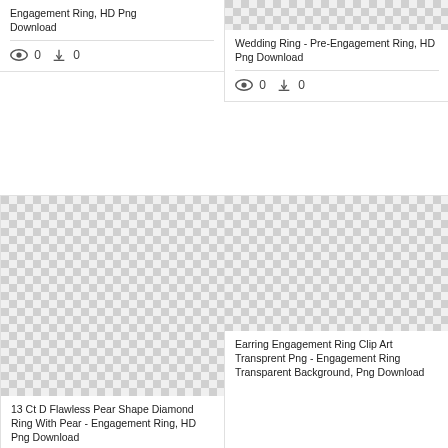Engagement Ring, HD Png Download
0  0
[Figure (illustration): Checkerboard transparency pattern (top-right card image)]
Wedding Ring - Pre-Engagement Ring, HD Png Download
0  0
[Figure (illustration): Checkerboard transparency pattern (bottom-left card image)]
13 Ct D Flawless Pear Shape Diamond Ring With Pear - Engagement Ring, HD Png Download
0  0
[Figure (illustration): Checkerboard transparency pattern (bottom-right card image)]
Earring Engagement Ring Clip Art Transprent Png - Engagement Ring Transparent Background, Png Download